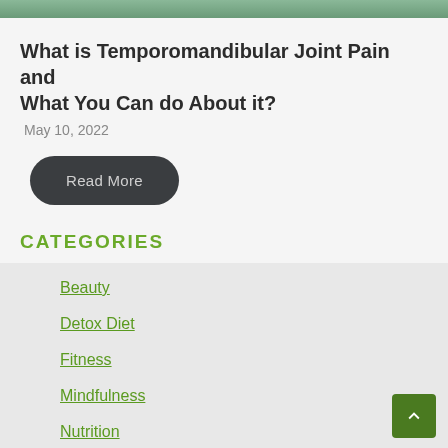[Figure (photo): Top portion of an article image showing a person, cropped at top of page]
What is Temporomandibular Joint Pain and What You Can do About it?
May 10, 2022
Read More
CATEGORIES
Beauty
Detox Diet
Fitness
Mindfulness
Nutrition